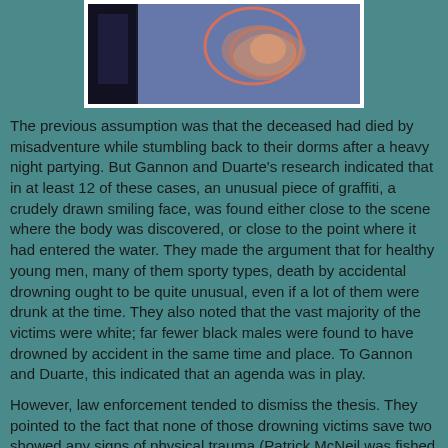[Figure (photo): A blurry photograph showing what appears to be a screen or monitor displaying an abstract or medical image with pinkish circular markings on a blue/purple background. The image is bordered by a white frame.]
The previous assumption was that the deceased had died by misadventure while stumbling back to their dorms after a heavy night partying. But Gannon and Duarte's research indicated that in at least 12 of these cases, an unusual piece of graffiti, a crudely drawn smiling face, was found either close to the scene where the body was discovered, or close to the point where it had entered the water. They made the argument that for healthy young men, many of them sporty types, death by accidental drowning ought to be quite unusual, even if a lot of them were drunk at the time. They also noted that the vast majority of the victims were white; far fewer black males were found to have drowned by accident in the same time and place. To Gannon and Duarte, this indicated that an agenda was in play.
However, law enforcement tended to dismiss the thesis. They pointed to the fact that none of those drowning victims save two showed any signs of physical trauma (Patrick McNeil was fished from New York's East River in 1997, and